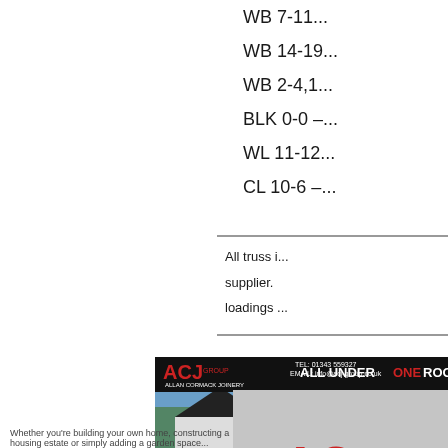WB 7-11,...
WB 14-19...
WB 2-4,1...
BLK 0-0 –...
WL 11-12...
CL 10-6 –...
All truss i... supplier. loadings ...
[Figure (photo): ACJ Group advertisement showing modern house with text ALL UNDER ONE ROOF, TEL: 01343 559327, EMAIL: info@acj-group.co.uk, YOUR COMPLETE DESIGN & BUILD SOLUTION]
Whether you're building your own home, constructing a housing estate or simply adding a garden space...
[Figure (logo): ACJ Group logo (partially visible) and ARCHITECTURAL text on red background, with reCAPTCHA widget showing Privacy - Terms]